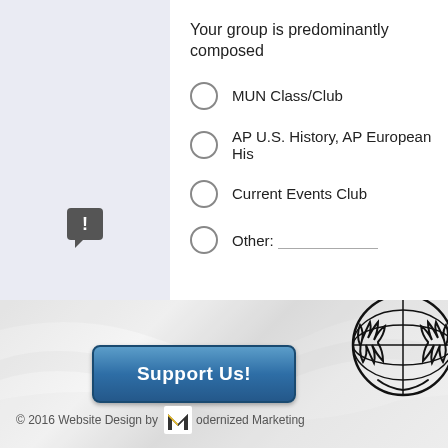Your group is predominantly composed...
MUN Class/Club
AP U.S. History, AP European His...
Current Events Club
Other:
[Figure (other): Support Us! button with blue gradient styling]
[Figure (logo): United Nations emblem - circular wreath logo in black and white]
© 2016 Website Design by Modernized Marketing